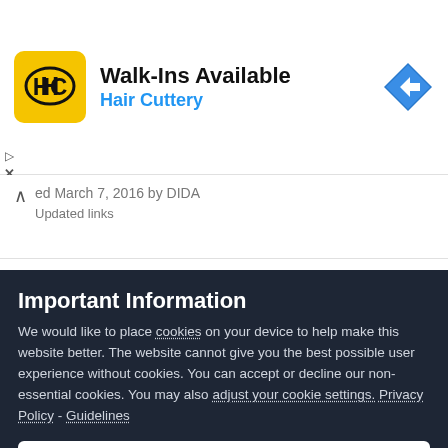[Figure (screenshot): Advertisement banner for Hair Cuttery showing logo, 'Walk-Ins Available' text, 'Hair Cuttery' subtitle in blue, and a blue navigation arrow icon on the right.]
ed March 7, 2016 by DIDA
Updated links
Important Information
We would like to place cookies on your device to help make this website better. The website cannot give you the best possible user experience without cookies. You can accept or decline our non-essential cookies. You may also adjust your cookie settings. Privacy Policy - Guidelines
✕  I decline
✓  I accept